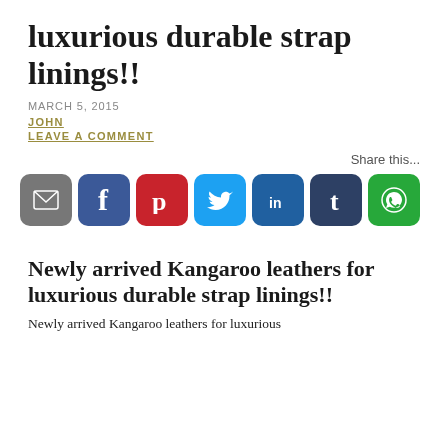luxurious durable strap linings!!
MARCH 5, 2015
JOHN
LEAVE A COMMENT
Share this...
[Figure (infographic): Row of social media share buttons: email (grey), Facebook (blue), Pinterest (red), Twitter (light blue), LinkedIn (dark blue), Tumblr (dark navy), WhatsApp (green)]
Newly arrived Kangaroo leathers for luxurious durable strap linings!!
Newly arrived Kangaroo leathers for luxurious